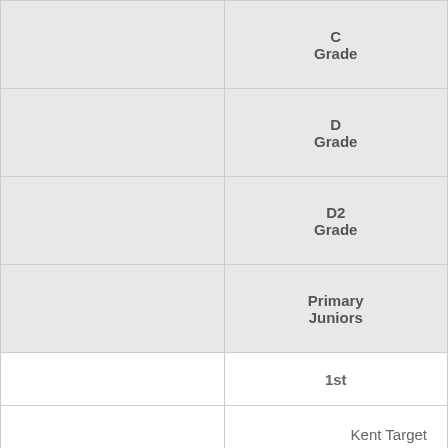|  |  |
| --- | --- |
|  | C
Grade |
|  | D
Grade |
|  | D2
Grade |
|  | Primary
Juniors |
|  | 1st |
|  | Kent Target |
|  | Irish Ladies |
|  | Kent Target |
|  | Kent Target |
|  | Kent Target |